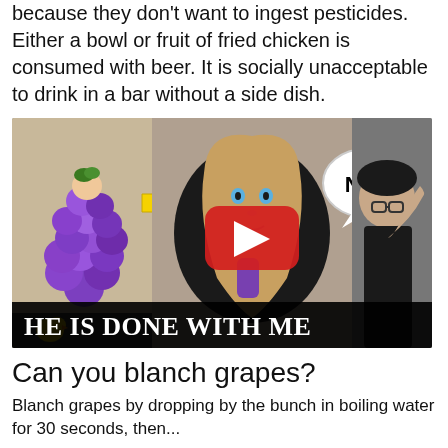because they don't want to ingest pesticides. Either a bowl or fruit of fried chicken is consumed with beer. It is socially unacceptable to drink in a bar without a side dish.
[Figure (screenshot): YouTube video thumbnail showing a woman with long hair in the center, a child dressed in a purple balloon grape costume on the left with a yellow arrow pointing at it, a speech bubble saying 'NO!' on the upper right, a red YouTube play button in the center, a person with glasses on the far right, and a black bar at the bottom reading 'HE IS DONE WITH ME']
Can you blanch grapes?
Blanch grapes by dropping by the bunch in boiling water for 30 seconds, then...